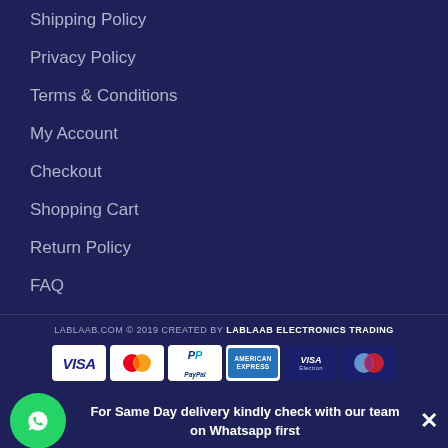Shipping Policy
Privacy Policy
Terms & Conditions
My Account
Checkout
Shopping Cart
Return Policy
FAQ
LABLAAB.COM © 2019 CREATED BY LABLAAB ELECTRONICS TRADING
[Figure (logo): Payment method icons: Visa, Mastercard, PayPal, American Express, Visa Electron, Maestro]
For Same Day delivery kindly check with our team on Whatsapp first